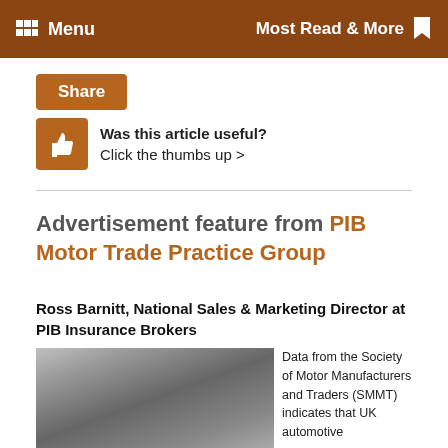Menu | Most Read & More
Share
Was this article useful? Click the thumbs up >
Advertisement feature from PIB Motor Trade Practice Group
Ross Barnitt, National Sales & Marketing Director at PIB Insurance Brokers
[Figure (photo): Black and white portrait photo of Ross Barnitt]
Data from the Society of Motor Manufacturers and Traders (SMMT) indicates that UK automotive